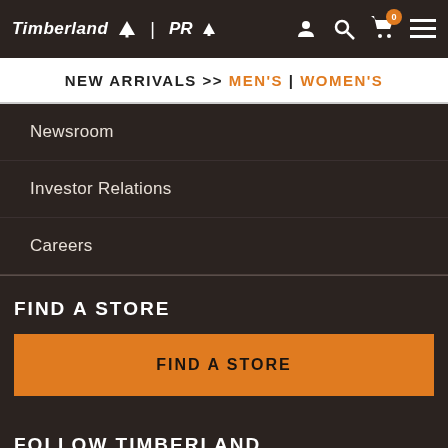Timberland PRO
NEW ARRIVALS >> MEN'S | WOMEN'S
Newsroom
Investor Relations
Careers
FIND A STORE
FIND A STORE
FOLLOW TIMBERLAND
[Figure (infographic): Social media icons: Facebook, Instagram, YouTube]